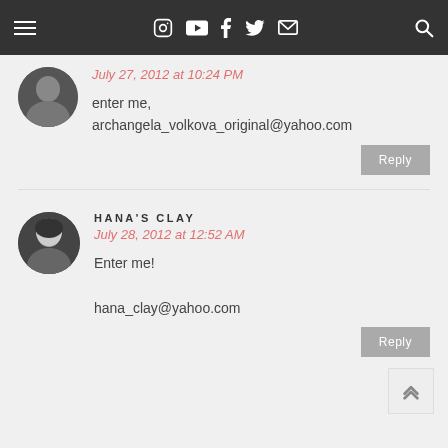Navigation bar with menu, social icons (Instagram, YouTube, Facebook, Twitter, Email) and search
July 27, 2012 at 10:24 PM
enter me, archangela_volkova_original@yahoo.com
HANA'S CLAY
July 28, 2012 at 12:52 AM
Enter me!

hana_clay@yahoo.com